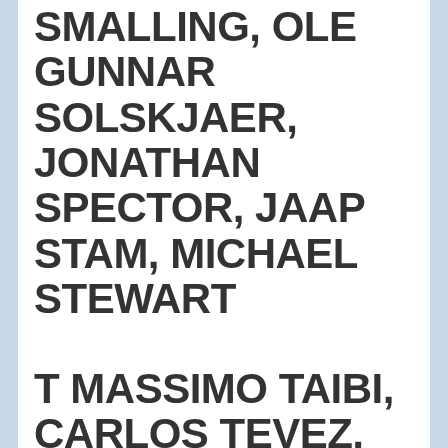SMALLING, OLE GUNNAR SOLSKJAER, JONATHAN SPECTOR, JAAP STAM, MICHAEL STEWART
T MASSIMO TAIBI, CARLOS TEVEZ, ZORAN TOSIC
V ANTONIO VALENCIA, RAIMOND VAN DER